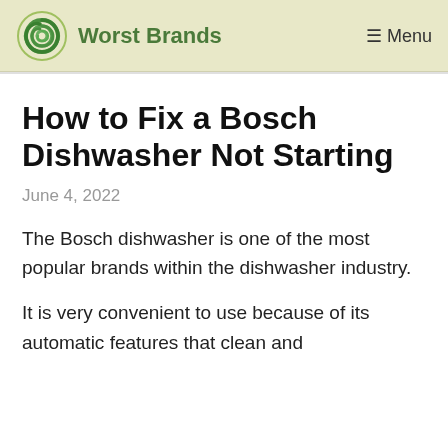Worst Brands  ☰ Menu
How to Fix a Bosch Dishwasher Not Starting
June 4, 2022
The Bosch dishwasher is one of the most popular brands within the dishwasher industry.
It is very convenient to use because of its automatic features that clean and